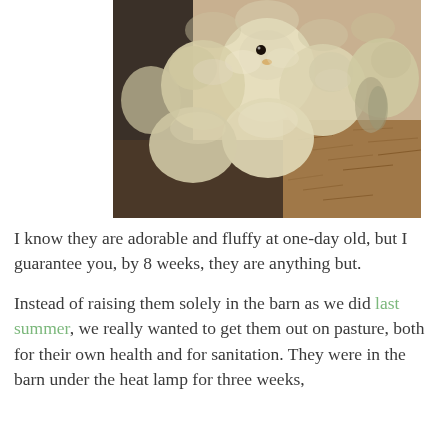[Figure (photo): A cluster of newborn chicks, fluffy and pale yellow-white, huddled together on brown wood shavings bedding. One chick faces forward showing a dark eye.]
I know they are adorable and fluffy at one-day old, but I guarantee you, by 8 weeks, they are anything but.
Instead of raising them solely in the barn as we did last summer, we really wanted to get them out on pasture, both for their own health and for sanitation. They were in the barn under the heat lamp for three weeks,